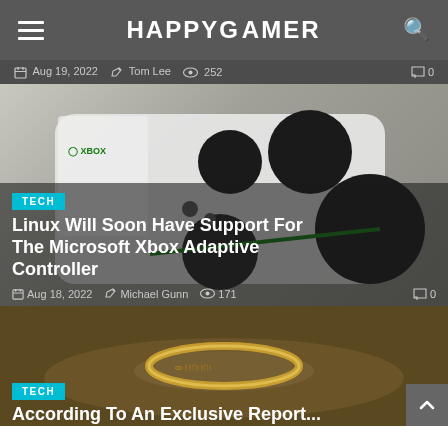HAPPYGAMER
Aug 19, 2022  Tom Lee  252  0
[Figure (photo): Xbox Adaptive Controller product photo on white background with Xbox branding]
TECH
Linux Will Soon Have Support For The Microsoft Xbox Adaptive Controller
Aug 18, 2022  Michael Gunn  171  0
[Figure (photo): Lord of the Rings style glowing ring on a map background, blurred bokeh effect]
TECH
According To An Exclusive Report...